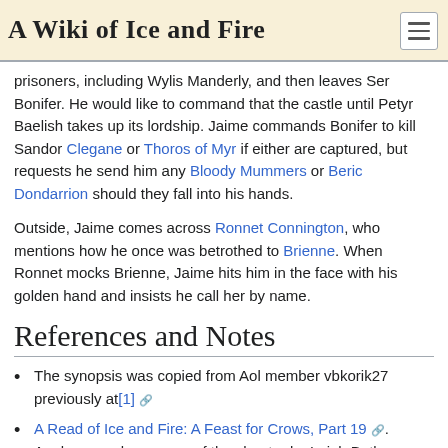A Wiki of Ice and Fire
prisoners, including Wylis Manderly, and then leaves Ser Bonifer. He would like to command that the castle until Petyr Baelish takes up its lordship. Jaime commands Bonifer to kill Sandor Clegane or Thoros of Myr if either are captured, but requests he send him any Bloody Mummers or Beric Dondarrion should they fall into his hands.
Outside, Jaime comes across Ronnet Connington, who mentions how he once was betrothed to Brienne. When Ronnet mocks Brienne, Jaime hits him in the face with his golden hand and insists he call her by name.
References and Notes
The synopsis was copied from Aol member vbkorik27 previously at[1] 🔗
A Read of Ice and Fire: A Feast for Crows, Part 19 🔗. Analyses and summary of the chapter by Leigh Butler.
Categories: A Song of Ice And Fire chapters | A Song of Ice And Fire chapters--POV Jaime Lannister | Chapters which take place at the Red Keep | Chapters which take place in King's Landing